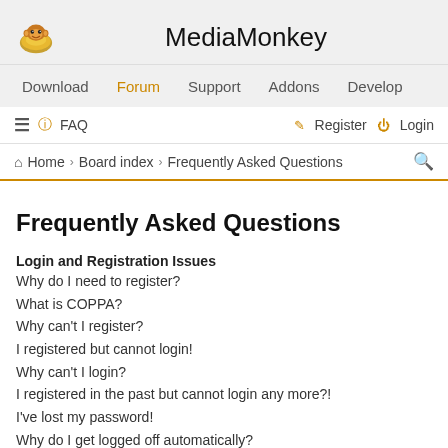MediaMonkey
Download  Forum  Support  Addons  Develop
≡  FAQ  Register  Login
Home › Board index › Frequently Asked Questions
Frequently Asked Questions
Login and Registration Issues
Why do I need to register?
What is COPPA?
Why can't I register?
I registered but cannot login!
Why can't I login?
I registered in the past but cannot login any more?!
I've lost my password!
Why do I get logged off automatically?